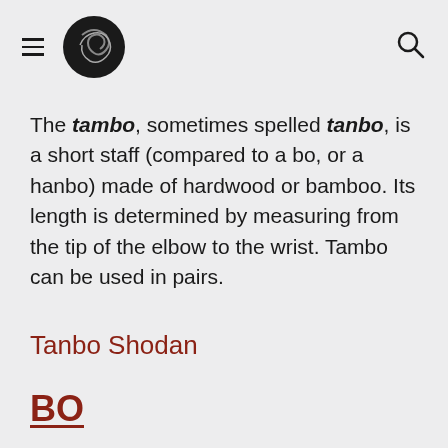[navigation header with hamburger menu, logo, and search icon]
The tambo, sometimes spelled tanbo, is a short staff (compared to a bo, or a hanbo) made of hardwood or bamboo. Its length is determined by measuring from the tip of the elbow to the wrist. Tambo can be used in pairs.
Tanbo Shodan
BO